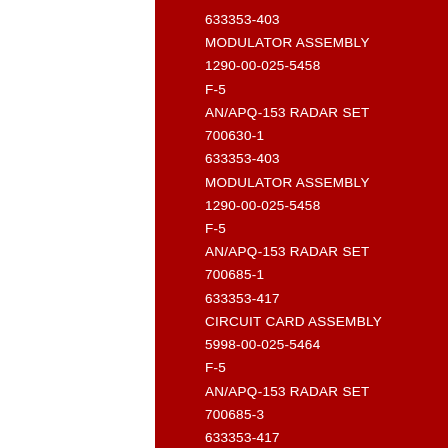633353-403
MODULATOR ASSEMBLY
1290-00-025-5458
F-5
AN/APQ-153 RADAR SET
700630-1
633353-403
MODULATOR ASSEMBLY
1290-00-025-5458
F-5
AN/APQ-153 RADAR SET
700685-1
633353-417
CIRCUIT CARD ASSEMBLY
5998-00-025-5464
F-5
AN/APQ-153 RADAR SET
700685-3
633353-417
CIRCUIT CARD ASSEMBLY
5998-00-025-5464
F-5